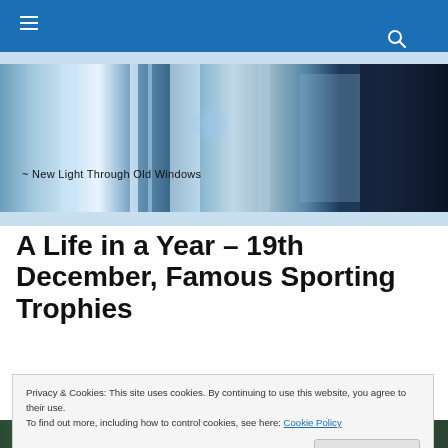Navigation bar with hamburger menu and search icon
[Figure (photo): Hero banner image showing reflective metallic window frames with blue tones and decorative glass, overlaid with the text 'New Light Through Old Windows']
A Life in a Year – 19th December, Famous Sporting Trophies
Privacy & Cookies: This site uses cookies. By continuing to use this website, you agree to their use.
To find out more, including how to control cookies, see here: Cookie Policy
Close and accept